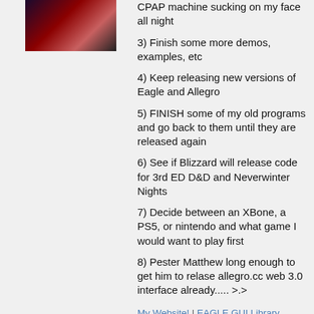[Figure (photo): Avatar/profile photo of a woman with dark hair, reddish/dark background tones]
CPAP machine sucking on my face all night
3) Finish some more demos, examples, etc
4) Keep releasing new versions of Eagle and Allegro
5) FINISH some of my old programs and go back to them until they are released again
6) See if Blizzard will release code for 3rd ED D&D and Neverwinter Nights
7) Decide between an XBone, a PS5, or nintendo and what game I would want to play first
8) Pester Matthew long enough to get him to relase allegro.cc web 3.0 interface already..... >.>
My Website! | EAGLE GUI Library Demos | My Deviant Art Gallery | Spiraloid Preview | A4 FontMaker | Skyline! (Missile Defense)